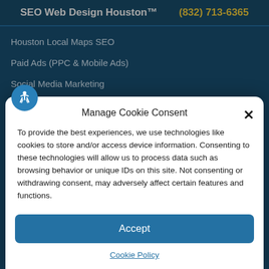SEO Web Design Houston™  (832) 713-6365
Houston Local Maps SEO
Paid Ads (PPC & Mobile Ads)
Social Media Marketing
SEO Web Design Houston™ Reviews
About Us – since 2001
Manage Cookie Consent
To provide the best experiences, we use technologies like cookies to store and/or access device information. Consenting to these technologies will allow us to process data such as browsing behavior or unique IDs on this site. Not consenting or withdrawing consent, may adversely affect certain features and functions.
Accept
Cookie Policy